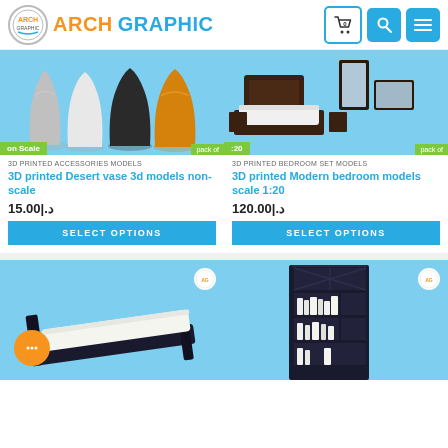ARCH GRAPHIC
[Figure (photo): 3D printed desert vases in various colors on blue background with green label 'on Scale pack of']
3D PRINTED ACCESSORIES MODELS
3D printed Desert vase 3d models non-scale
15.00|.د
SELECT OPTIONS
[Figure (photo): 3D printed modern bedroom furniture set on blue background with green label ':20 pack of']
3D PRINTED BEDROOM SET MODELS
3D printed Modern bedroom models scale 1:20
120.00|.د
SELECT OPTIONS
[Figure (photo): 3D printed bed model on blue background with orange chat button]
[Figure (photo): 3D printed dark bookshelf with white books on blue background]